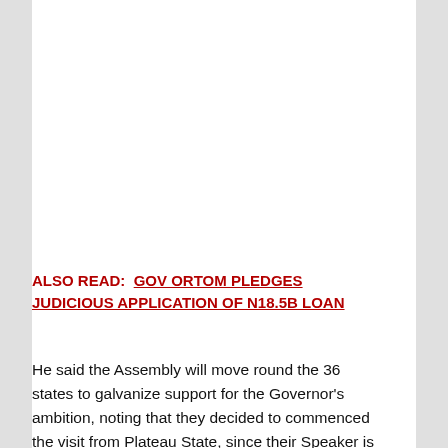ALSO READ:  GOV ORTOM PLEDGES JUDICIOUS APPLICATION OF N18.5B LOAN
He said the Assembly will move round the 36 states to galvanize support for the Governor's ambition, noting that they decided to commenced the visit from Plateau State, since their Speaker is chairman of the north central zone of the conference of speakers of state legislatures.